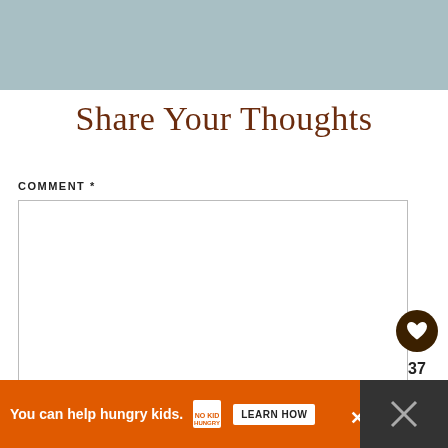[Figure (other): Blue-grey decorative banner at top of page]
Share Your Thoughts
COMMENT *
[Figure (screenshot): Comment text input box (empty)]
[Figure (other): Like button (heart icon, dark brown circle), count 37, and share button]
[Figure (other): Advertisement banner: 'You can help hungry kids. NO KID HUNGRY LEARN HOW']